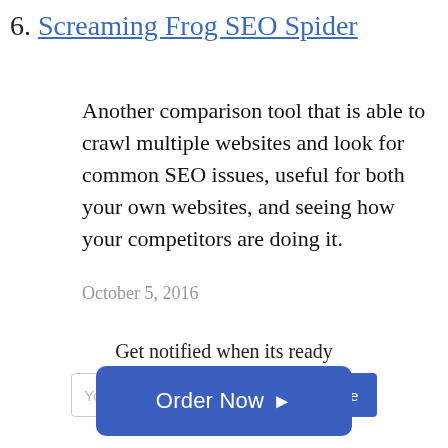6. Screaming Frog SEO Spider
Another comparison tool that is able to crawl multiple websites and look for common SEO issues, useful for both your own websites, and seeing how your competitors are doing it.
October 5, 2016
Get notified when its ready
Your Email
Subscribe
Order Now ▶